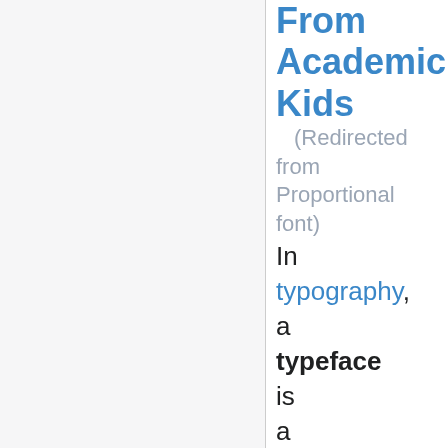From Academic Kids
(Redirected from Proportional font)
In typography, a typeface is a co-ordinated set